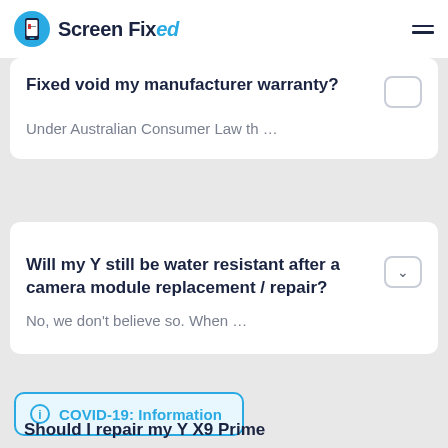Screen Fixed
Fixed void my manufacturer warranty?
Under Australian Consumer Law th ...
Will my Y still be water resistant after a camera module replacement / repair?
No, we don't believe so. When ...
COVID-19: Information
Should I repair my Y X9 Prime